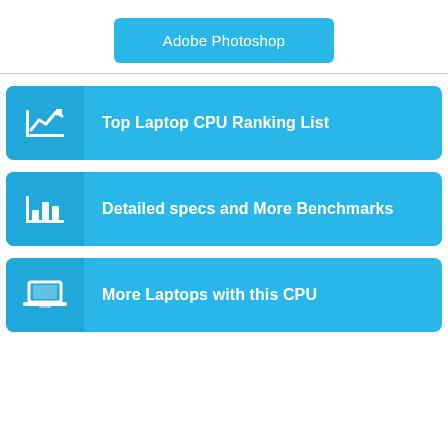Adobe Photoshop
Top Laptop CPU Ranking List
Detailed specs and More Benchmarks
More Laptops with this CPU